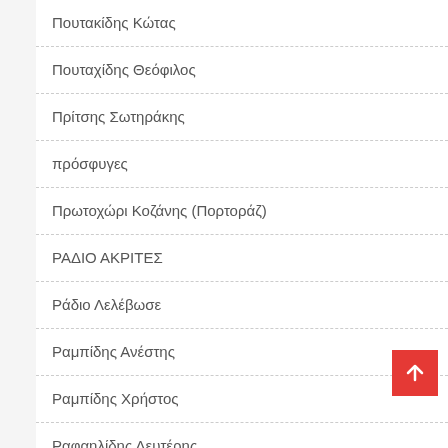Πουτακίδης Κώτας
Πουταχίδης Θεόφιλος
Πρίτσης Σωτηράκης
πρόσφυγες
Πρωτοχώρι Κοζάνης (Πορτοράζ)
ΡΑΔΙΟ ΑΚΡΙΤΕΣ
Ράδιο Λελέβωσε
Ραμπίδης Ανέστης
Ραμπίδης Χρήστος
Ραφαηλίδης Λευτέρης
Ραφαηλίδης Μπάμπης
Ριζό Πέλλας
Ροδοχώρι Ναούσης